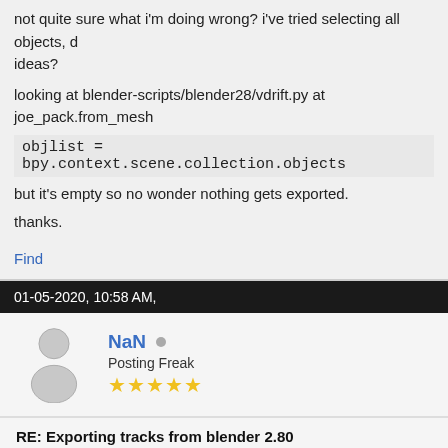not quite sure what i'm doing wrong? i've tried selecting all objects, d ideas?
looking at blender-scripts/blender28/vdrift.py at joe_pack.from_mesh
objlist = bpy.context.scene.collection.objects
but it's empty so no wonder nothing gets exported.
thanks.
Find
01-05-2020, 10:58 AM,
NaN
Posting Freak
RE: Exporting tracks from blender 2.80
Try changing bpy.context.scene.collection.objects to bpy.context.sce